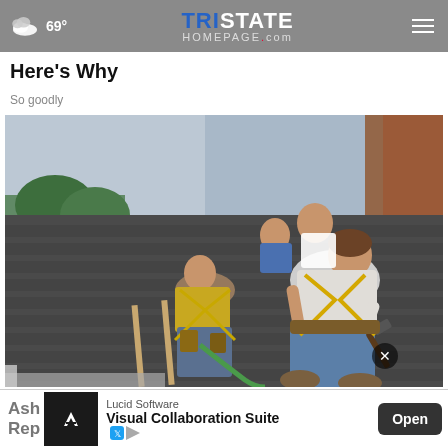69° TRISTATE HOMEPAGE.com
Here's Why
So goodly
[Figure (photo): Workers wearing safety harnesses installing shingles on a residential roof. Multiple workers visible on the sloped roof, with the foreground worker bending down hammering a nail.]
Ash
Rep